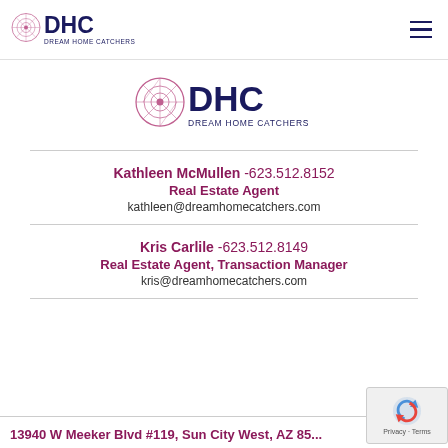[Figure (logo): DHC Dream Home Catchers logo in top navigation bar]
[Figure (logo): DHC Dream Home Catchers large center logo]
Kathleen McMullen -623.512.8152
Real Estate Agent
kathleen@dreamhomecatchers.com
Kris Carlile -623.512.8149
Real Estate Agent, Transaction Manager
kris@dreamhomecatchers.com
13940 W Meeker Blvd #119, Sun City West, AZ 85...